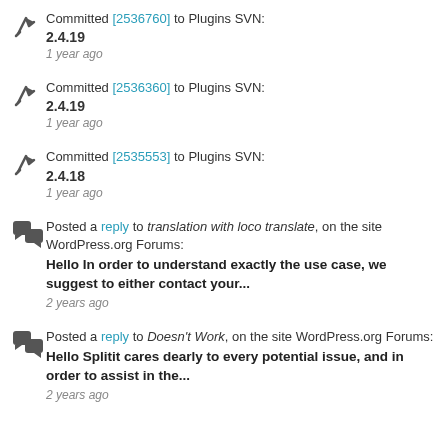Committed [2536760] to Plugins SVN: 2.4.19 — 1 year ago
Committed [2536360] to Plugins SVN: 2.4.19 — 1 year ago
Committed [2535553] to Plugins SVN: 2.4.18 — 1 year ago
Posted a reply to translation with loco translate, on the site WordPress.org Forums: Hello In order to understand exactly the use case, we suggest to either contact your... — 2 years ago
Posted a reply to Doesn't Work, on the site WordPress.org Forums: Hello Splitit cares dearly to every potential issue, and in order to assist in the... — 2 years ago